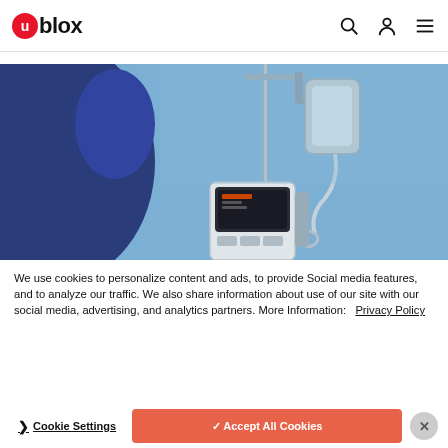u-blox
[Figure (photo): Medical IV infusion pump on a pole with tubing, against a blue background, with a blurred blue fabric/scrubs in the foreground]
We use cookies to personalize content and ads, to provide Social media features, and to analyze our traffic. We also share information about use of our site with our social media, advertising, and analytics partners. More Information: Privacy Policy
❯ Cookie Settings   ✓ Accept All Cookies   ×